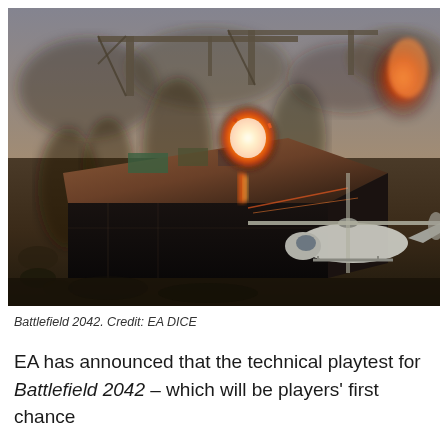[Figure (photo): Aerial screenshot from Battlefield 2042 video game showing a chaotic warzone with burning buildings, cranes, explosions, smoke, and a helicopter in the foreground flying over a large industrial structure under attack.]
Battlefield 2042. Credit: EA DICE
EA has announced that the technical playtest for Battlefield 2042 – which will be players' first chance